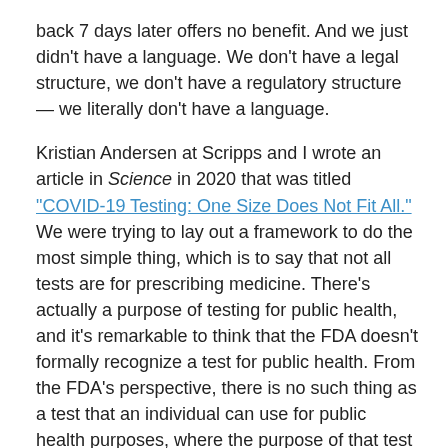back 7 days later offers no benefit. And we just didn't have a language. We don't have a legal structure, we don't have a regulatory structure — we literally don't have a language.
Kristian Andersen at Scripps and I wrote an article in Science in 2020 that was titled "COVID-19 Testing: One Size Does Not Fit All." We were trying to lay out a framework to do the most simple thing, which is to say that not all tests are for prescribing medicine. There's actually a purpose of testing for public health, and it's remarkable to think that the FDA doesn't formally recognize a test for public health. From the FDA's perspective, there is no such thing as a test that an individual can use for public health purposes, where the purpose of that test is to benefit the people around them and not themselves.
The argument I've made, and I think it is a correct argument, is what if the primary beneficiary of the test is not the test user but the people around the test user?